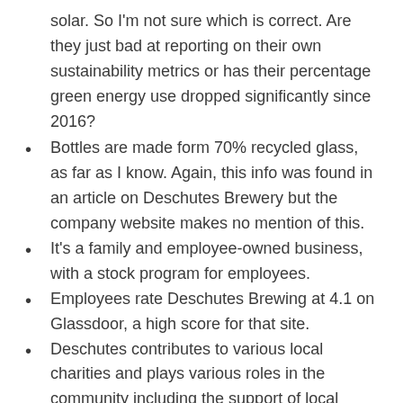solar. So I'm not sure which is correct. Are they just bad at reporting on their own sustainability metrics or has their percentage green energy use dropped significantly since 2016?
Bottles are made form 70% recycled glass, as far as I know. Again, this info was found in an article on Deschutes Brewery but the company website makes no mention of this.
It's a family and employee-owned business, with a stock program for employees.
Employees rate Deschutes Brewing at 4.1 on Glassdoor, a high score for that site.
Deschutes contributes to various local charities and plays various roles in the community including the support of local conservation organizations and ingredient suppliers.
Deschutes Obsidian Stout (and virtually all of